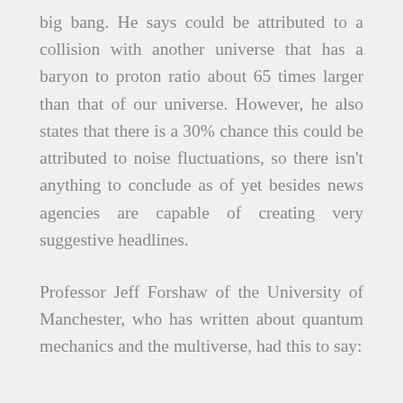big bang. He says could be attributed to a collision with another universe that has a baryon to proton ratio about 65 times larger than that of our universe. However, he also states that there is a 30% chance this could be attributed to noise fluctuations, so there isn't anything to conclude as of yet besides news agencies are capable of creating very suggestive headlines.
Professor Jeff Forshaw of the University of Manchester, who has written about quantum mechanics and the multiverse, had this to say: